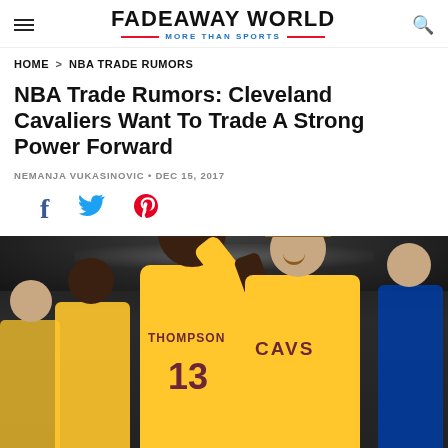FADEAWAY WORLD — MORE THAN SPORTS
HOME > NBA TRADE RUMORS
NBA Trade Rumors: Cleveland Cavaliers Want To Trade A Strong Power Forward
NEMANJA VUKASINOVIC · DEC 15, 2017
[Figure (photo): Cleveland Cavaliers players Tristan Thompson (#13) and Kevin Love on the court, with Thompson's arm raised, both in gold Cavaliers uniforms]
Thompson 13 Cavs basketball photo